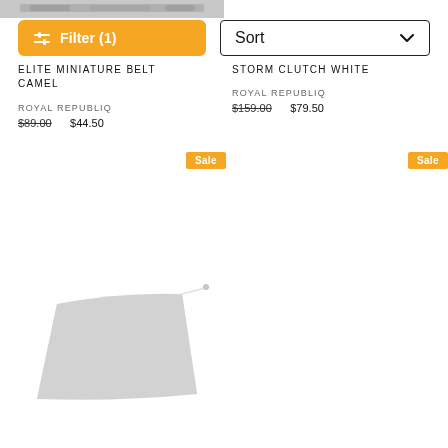[Figure (photo): Partial top of a belt product image, cropped at the top]
[Figure (screenshot): Filter button (orange, with slider icon) and Sort dropdown]
ELITE MINIATURE BELT CAMEL
ROYAL REPUBLIQ
$89.00  $44.50
STORM CLUTCH WHITE
ROYAL REPUBLIQ
$159.00  $79.50
Sale
Sale
[Figure (photo): White/light gray clutch bag product image]